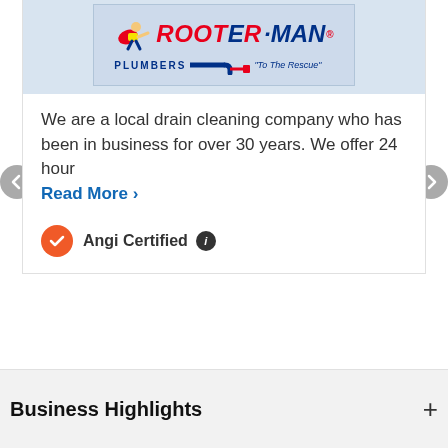[Figure (logo): Rooter-Man Plumbers logo with superhero figure and pipe, tagline 'To The Rescue']
We are a local drain cleaning company who has been in business for over 30 years. We offer 24 hour Read More ›
✓ Angi Certified ⓘ
Business Highlights